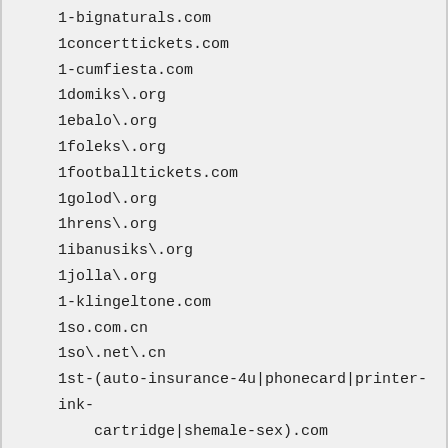1-bignaturals.com
1concerttickets.com
1-cumfiesta.com
1domiks\.org
1ebalo\.org
1foleks\.org
1footballtickets.com
1golod\.org
1hrens\.org
1ibanusiks\.org
1jolla\.org
1-klingeltone.com
1so.com.cn
1so\.net\.cn
1st-(auto-insurance-4u|phonecard|printer-ink-cartridge|shemale-sex).com
1st-host.org
1stindustrialdirectory.com
1stlookcd.com